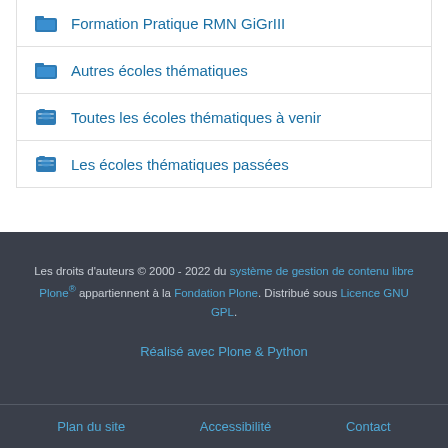Formation Pratique RMN GiGrIII
Autres écoles thématiques
Toutes les écoles thématiques à venir
Les écoles thématiques passées
Les droits d'auteurs © 2000 - 2022 du système de gestion de contenu libre Plone® appartiennent à la Fondation Plone. Distribué sous Licence GNU GPL.
Réalisé avec Plone & Python
Plan du site   Accessibilité   Contact